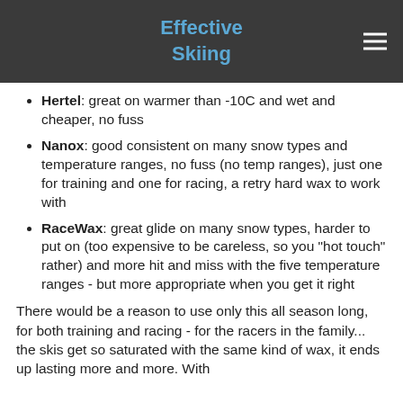Effective Skiing
Hertel: great on warmer than -10C and wet and cheaper, no fuss
Nanox: good consistent on many snow types and temperature ranges, no fuss (no temp ranges), just one for training and one for racing, a retry hard wax to work with
RaceWax: great glide on many snow types, harder to put on (too expensive to be careless, so you "hot touch" rather) and more hit and miss with the five temperature ranges - but more appropriate when you get it right
There would be a reason to use only this all season long, for both training and racing - for the racers in the family... the skis get so saturated with the same kind of wax, it ends up lasting more and more. With the last sentence their EC opinion associated